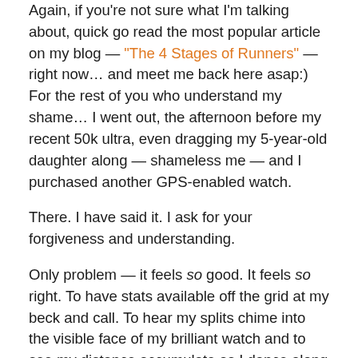Again, if you're not sure what I'm talking about, quick go read the most popular article on my blog — "The 4 Stages of Runners" — right now… and meet me back here asap:) For the rest of you who understand my shame… I went out, the afternoon before my recent 50k ultra, even dragging my 5-year-old daughter along — shameless me — and I purchased another GPS-enabled watch.

There. I have said it. I ask for your forgiveness and understanding.

Only problem — it feels so good. It feels so right. To have stats available off the grid at my beck and call. To hear my splits chime into the visible face of my brilliant watch and to see my distance accumulate as I dance along the path of my race… Such feedback is almost as nice as my run itself. The watch, designed with me in mind, I suppose, seems to know just when to switch modes back to regular